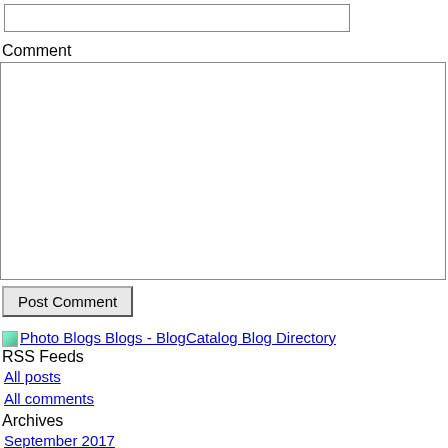[text input field]
Comment
[comment textarea]
Post Comment
Photo Blogs Blogs - BlogCatalog Blog Directory
RSS Feeds
All posts
All comments
Archives
September 2017
January 2015
October 2014
September 2014